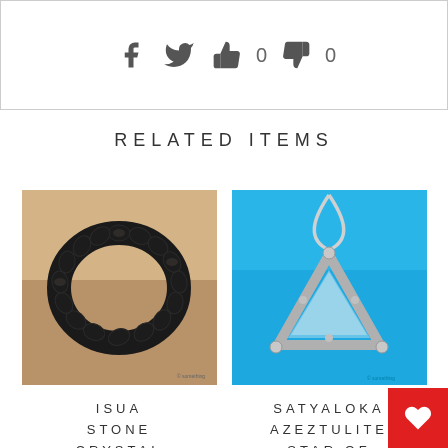[Figure (screenshot): Social sharing bar with Facebook, Twitter, thumbs up (0), thumbs down (0) icons inside a bordered rectangle]
RELATED ITEMS
[Figure (photo): Isua stone crystal healing bracelet made of dark black and brown stone chips arranged in a circle, photographed on sandy rock background]
[Figure (photo): Satyaloka Azeztulite Star of David pendant - silver triangular geometric pendant on a chain against blue sky background]
ISUA STONE CRYSTAL HEALING
SATYALOKA AZEZTULITE STAR OF DAVID
[Figure (other): Red wishlist/heart button in bottom right corner]